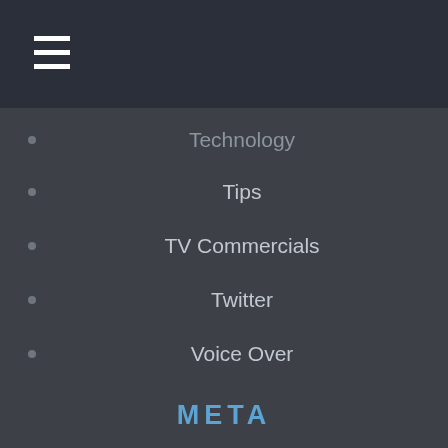[Figure (other): Hamburger menu button with three horizontal white lines on dark navy background]
Technology
Tips
TV Commercials
Twitter
Voice Over
META
Log in
Entries RSS
Comments RSS
WordPress.org